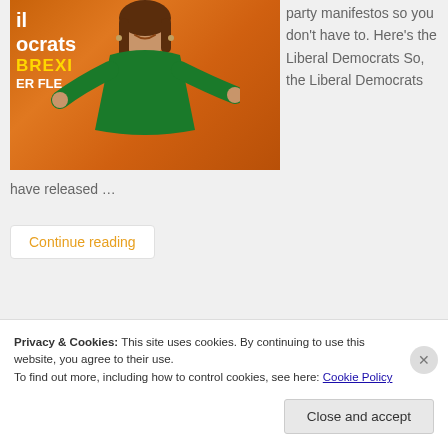[Figure (photo): Woman in green dress speaking at a Liberal Democrats event with orange Brexit backdrop]
party manifestos so you don't have to. Here's the Liberal Democrats So, the Liberal Democrats have released …
Continue reading
Privacy & Cookies: This site uses cookies. By continuing to use this website, you agree to their use.
To find out more, including how to control cookies, see here: Cookie Policy
Close and accept